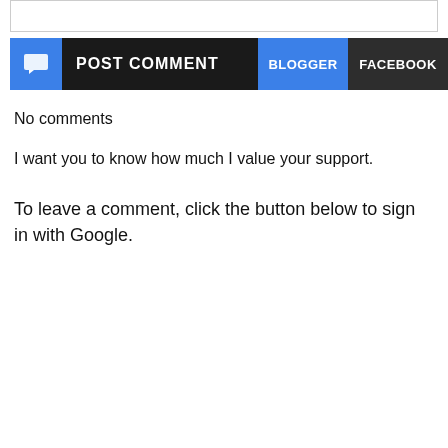[Figure (screenshot): Top empty input/text bar with border]
POST COMMENT  BLOGGER  FACEBOOK
No comments
I want you to know how much I value your support.
To leave a comment, click the button below to sign in with Google.
[Figure (screenshot): SIGN IN WITH GOOGLE button in blue]